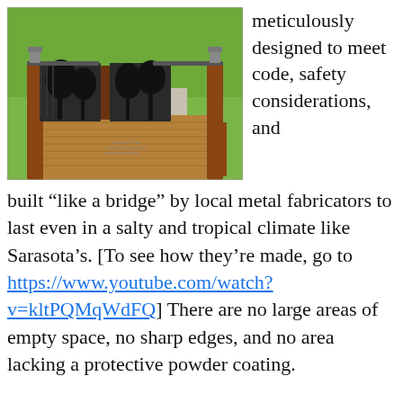[Figure (photo): Photo of a decorative metal gate on a wooden deck with railings, showing tropical/nature silhouette design with palm trees and figures, lanterns on posts, viewed from above with green lawn in background.]
meticulously designed to meet code, safety considerations, and built “like a bridge” by local metal fabricators to last even in a salty and tropical climate like Sarasota’s. [To see how they’re made, go to https://www.youtube.com/watch?v=kltPQMqWdFQ] There are no large areas of empty space, no sharp edges, and no area lacking a protective powder coating.